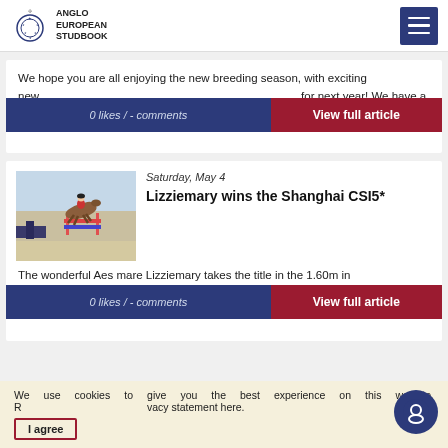Anglo European Studbook
We hope you are all enjoying the new breeding season, with exciting new ... for next year! We have a busy year ahead for our studbook.
0 likes / - comments
View full article
Saturday, May 4
Lizziemary wins the Shanghai CSI5*
[Figure (photo): Horse and rider jumping over obstacle at equestrian event]
The wonderful Aes mare Lizziemary takes the title in the 1.60m in Shanghai, ... €200,000. The unmistakable Damiene Goldstein (ISR) ...
0 likes / - comments
View full article
We use cookies to give you the best experience on this website. R... vacy statement here.
I agree